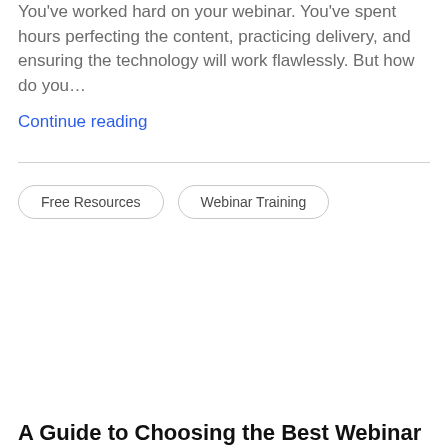You've worked hard on your webinar. You've spent hours perfecting the content, practicing delivery, and ensuring the technology will work flawlessly. But how do you…
Continue reading
Free Resources
Webinar Training
A Guide to Choosing the Best Webinar